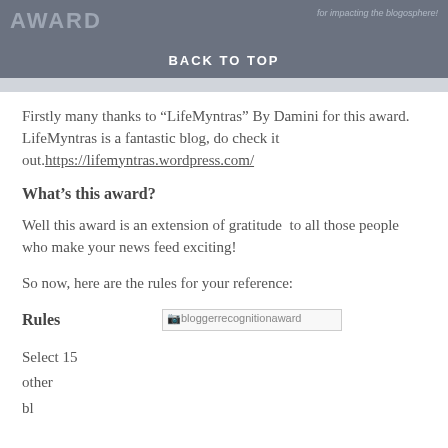AWARD | BACK TO TOP
Firstly many thanks to “LifeMyntras” By Damini for this award. LifeMyntras is a fantastic blog, do check it out. https://lifemyntras.wordpress.com/
What’s this award?
Well this award is an extension of gratitude  to all those people who make your news feed exciting!
So now, here are the rules for your reference:
Rules   [bloggerrecognitionaward]
Select 15 other bloggers...